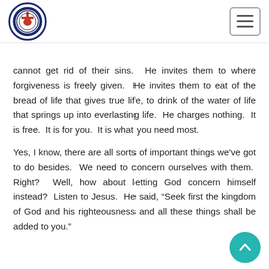[Lutheran church logo] [hamburger menu button]
cannot get rid of their sins.  He invites them to where forgiveness is freely given.  He invites them to eat of the bread of life that gives true life, to drink of the water of life that springs up into everlasting life.  He charges nothing.  It is free.  It is for you.  It is what you need most.
Yes, I know, there are all sorts of important things we've got to do besides.  We need to concern ourselves with them.  Right?  Well, how about letting God concern himself instead?  Listen to Jesus.  He said, “Seek first the kingdom of God and his righteousness and all these things shall be added to you.”